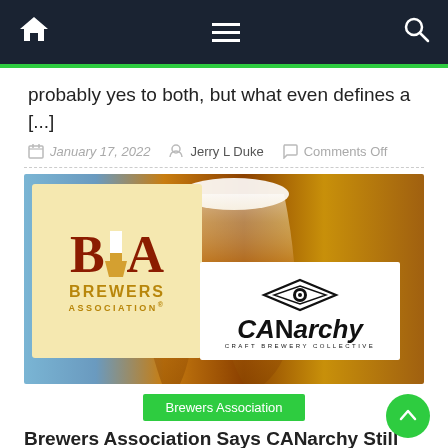Navigation bar with home, menu, and search icons
probably yes to both, but what even defines a [...]
January 17, 2022  Jerry L Duke  Comments Off
[Figure (photo): Photo of beer glasses with Brewers Association logo overlay and CANarchy Craft Brewery Collective logo overlay]
Brewers Association
Brewers Association Says CANarchy Still